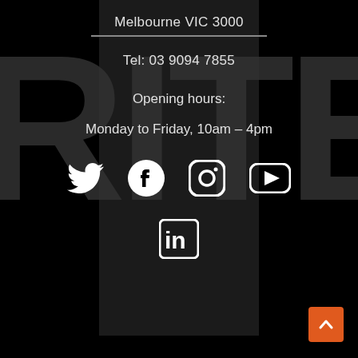Melbourne VIC 3000
Tel: 03 9094 7855
Opening hours:
Monday to Friday, 10am – 4pm
[Figure (illustration): Social media icons: Twitter, Facebook, Instagram, YouTube, LinkedIn]
[Figure (illustration): Orange back-to-top button with upward arrow chevron]